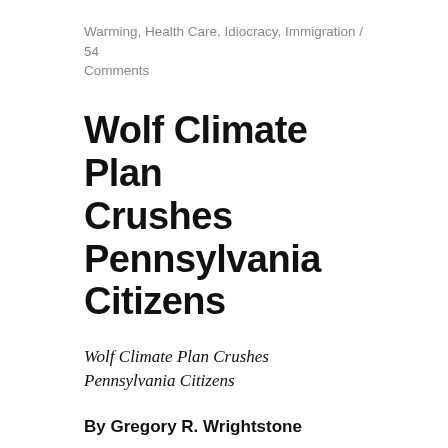Warming, Health Care, Idiocracy, Immigration / 54 Comments
Wolf Climate Plan Crushes Pennsylvania Citizens
Wolf Climate Plan Crushes Pennsylvania Citizens
By Gregory R. Wrightstone
On April 29, 2019, Pennsylvania Governor Tom Wolf released the latest version of the Pennsylvania Department of Environmental Protection's (DEP) Climate Action Plan